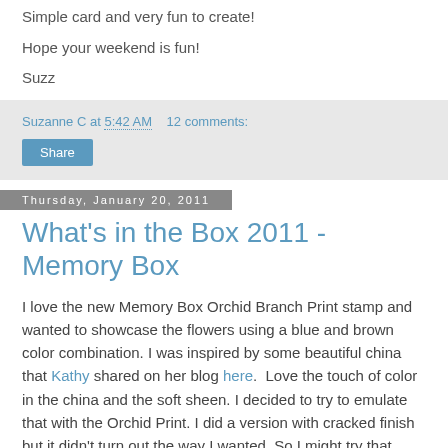Simple card and very fun to create!
Hope your weekend is fun!
Suzz
Suzanne C at 5:42 AM   12 comments:
Share
Thursday, January 20, 2011
What's in the Box 2011 - Memory Box
I love the new Memory Box Orchid Branch Print stamp and wanted to showcase the flowers using a blue and brown color combination. I was inspired by some beautiful china that Kathy shared on her blog here.  Love the touch of color in the china and the soft sheen. I decided to try to emulate that with the Orchid Print. I did a version with cracked finish but it didn't turn out the way I wanted. So I might try that again later. :)